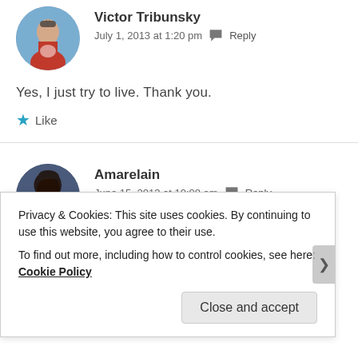[Figure (photo): Round avatar photo of Victor Tribunsky, a man in a red polo shirt]
Victor Tribunsky
July 1, 2013 at 1:20 pm  Reply
Yes, I just try to live. Thank you.
★ Like
[Figure (photo): Round avatar photo of Amarelain, a young woman with dark hair]
Amarelain
June 15, 2013 at 10:08 am  Reply
Privacy & Cookies: This site uses cookies. By continuing to use this website, you agree to their use.
To find out more, including how to control cookies, see here: Cookie Policy
Close and accept